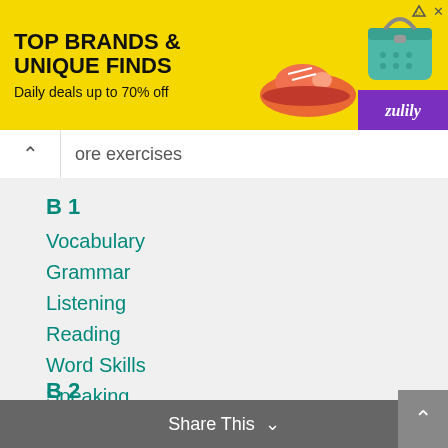[Figure (infographic): Zulily advertisement banner: yellow background with text 'TOP BRANDS & UNIQUE FINDS' and 'Daily deals up to 70% off', with images of a shoe and a teal handbag, and the Zulily logo on a purple block.]
ore exercises
B 1
Vocabulary
Grammar
Listening
Reading
Word Skills
Speaking
Writing
Listening Tests
More exercises
Share This  ×
B 2